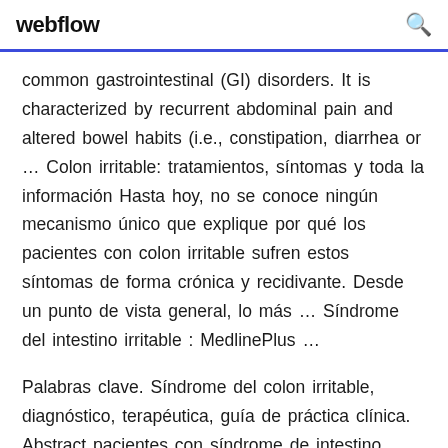webflow
common gastrointestinal (GI) disorders. It is characterized by recurrent abdominal pain and altered bowel habits (i.e., constipation, diarrhea or ... Colon irritable: tratamientos, síntomas y toda la información Hasta hoy, no se conoce ningún mecanismo único que explique por qué los pacientes con colon irritable sufren estos síntomas de forma crónica y recidivante. Desde un punto de vista general, lo más ... Síndrome del intestino irritable : MedlinePlus ...
Palabras clave. Síndrome del colon irritable, diagnóstico, terapéutica, guía de práctica clínica. Abstract pacientes con síndrome de intestino irritable (SII) con el propósito de